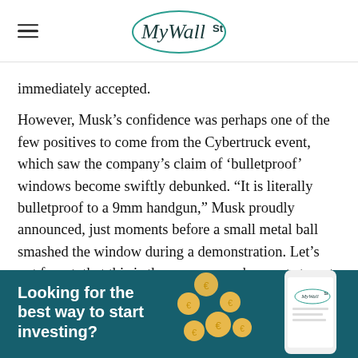MyWallSt
immediately accepted.
However, Musk’s confidence was perhaps one of the few positives to come from the Cybertruck event, which saw the company’s claim of ‘bulletproof’ windows become swiftly debunked. “It is literally bulletproof to a 9mm handgun,” Musk proudly announced, just moments before a small metal ball smashed the window during a demonstration. Let’s not forget, that this is the same man who wants to put brain chip technology in our heads!
[Figure (infographic): MyWallSt promotional banner with teal/dark background showing text 'Looking for the best way to start investing?' with gold coins and a phone illustration showing the MyWallSt logo]